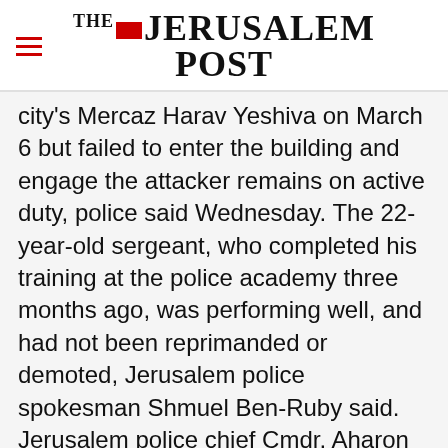THE JERUSALEM POST
city's Mercaz Harav Yeshiva on March 6 but failed to enter the building and engage the attacker remains on active duty, police said Wednesday. The 22-year-old sergeant, who completed his training at the police academy three months ago, was performing well, and had not been reprimanded or demoted, Jerusalem police spokesman Shmuel Ben-Ruby said. Jerusalem police chief Cmdr. Aharon Franco said Wednesday the officer should have tried to make
Advertisement